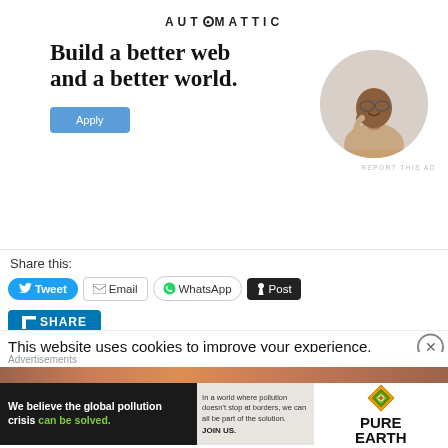[Figure (infographic): Automattic recruitment advertisement with logo, headline 'Build a better web and a better world.', blue Apply button, and circular photo of a man thinking]
Share this:
Tweet  Email  WhatsApp  Post  SHARE
This website uses cookies to improve your experience.
[Figure (infographic): Pure Earth advertisement: 'We believe the global pollution crisis can be solved.' with logo]